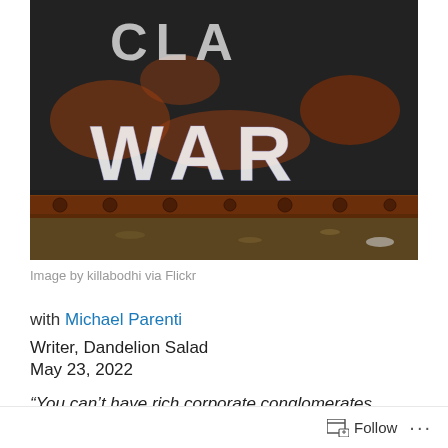[Figure (photo): Photo of a rusty metal surface with graffiti spelling 'CLASS WAR' in white paint, with debris on the ground below]
Image by killabodhi via Flickr
with Michael Parenti
Writer, Dandelion Salad
May 23, 2022
“You can’t have rich corporate conglomerates unless you have wage and salary workers who will work a whole